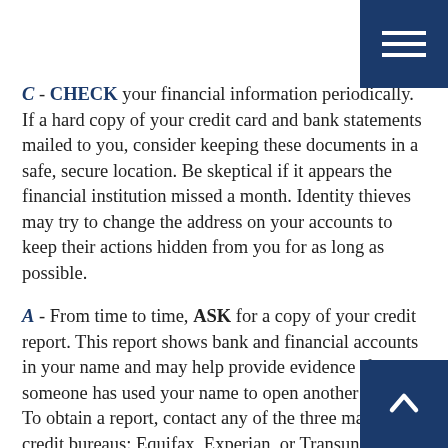C - CHECK your financial information periodically. If a hard copy of your credit card and bank statements mailed to you, consider keeping these documents in a safe, secure location. Be skeptical if it appears the financial institution missed a month. Identity thieves may try to change the address on your accounts to keep their actions hidden from you for as long as possible.
A - From time to time, ASK for a copy of your credit report. This report shows bank and financial accounts in your name and may help provide evidence if someone has used your name to open another account. To obtain a report, contact any of the three major credit bureaus: Equifax, Experian, or Transunion.